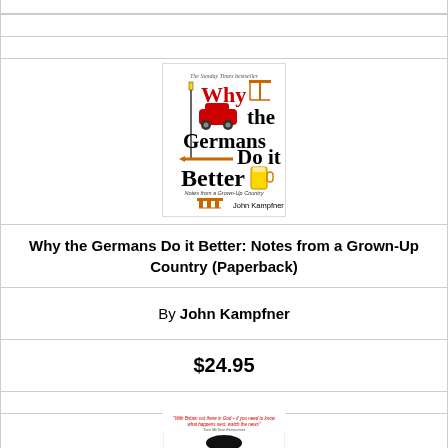[Figure (illustration): Book cover of 'Why the Germans Do it Better: Notes from a Grown-Up Country' by John Kampfner. White background with text in black and red, featuring icons of a car, construction crane, sausage/screwdriver, and beer mug, plus Brandenburg Gate icon. Subtitle: Notes from a Grown-Up Country.]
Why the Germans Do it Better: Notes from a Grown-Up Country (Paperback)
By John Kampfner
$24.95
[Figure (photo): Partial book cover showing a person's face, with red text at top. Bottom portion cut off.]